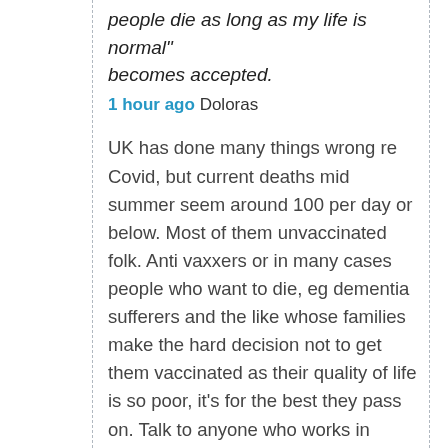people die as long as my life is normal" becomes accepted.
1 hour ago Doloras
UK has done many things wrong re Covid, but current deaths mid summer seem around 100 per day or below. Most of them unvaccinated folk. Anti vaxxers or in many cases people who want to die, eg dementia sufferers and the like whose families make the hard decision not to get them vaccinated as their quality of life is so poor, it's for the best they pass on. Talk to anyone who works in aged/palitative care, and this later scenario is more common than you think. The number of double vaccinated people dying is tiny.